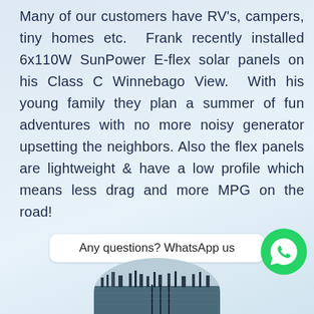Many of our customers have RV's, campers, tiny homes etc. Frank recently installed 6x110W SunPower E-flex solar panels on his Class C Winnebago View. With his young family they plan a summer of fun adventures with no more noisy generator upsetting the neighbors. Also the flex panels are lightweight & have a low profile which means less drag and more MPG on the road!
Any questions? WhatsApp us
[Figure (photo): Circular cropped photo of a marina/harbor with boats and docks visible at the bottom of the page]